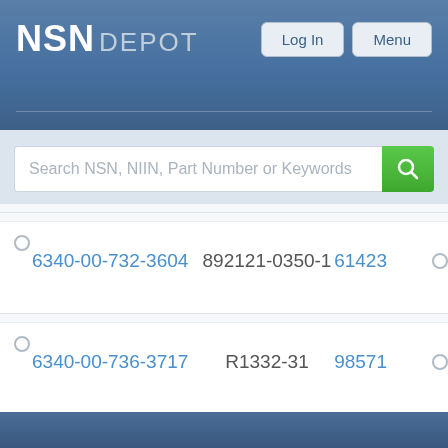[Figure (screenshot): NSN Depot website header with logo, Log In and Menu buttons]
Search NSN, NIIN, Part Number or Keywords
| NSN | Part Number | CAGE |
| --- | --- | --- |
| 6340-00-732-3604 | 892121-0350-1 | 61423 |
| 6340-00-736-3717 | R1332-31 | 98571 |
| 6340-00-736-3766 | R1332-33 | 98571 |